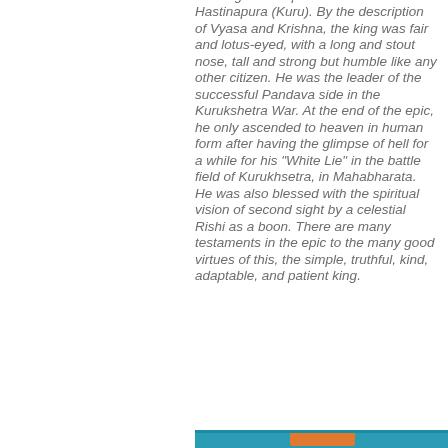the king of Indraprastha and later of Hastinapura (Kuru). By the description of Vyasa and Krishna, the king was fair and lotus-eyed, with a long and stout nose, tall and strong but humble like any other citizen. He was the leader of the successful Pandava side in the Kurukshetra War. At the end of the epic, he only ascended to heaven in human form after having the glimpse of hell for a while for his “White Lie” in the battle field of Kurukhsetra, in Mahabharata. He was also blessed with the spiritual vision of second sight by a celestial Rishi as a boon. There are many testaments in the epic to the many good virtues of this, the simple, truthful, kind, adaptable, and patient king.
[Figure (photo): Partial view of a colorful image strip at the bottom of the page, showing what appears to be a decorative or artistic illustration with teal/blue and warm orange tones.]